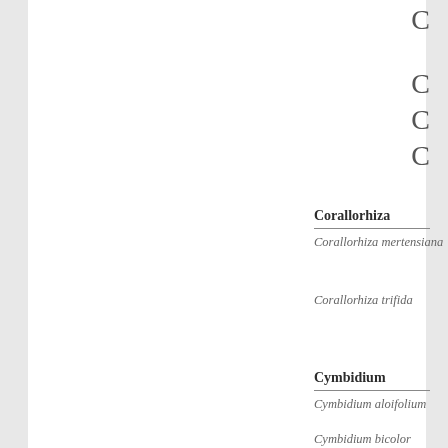C
C
C
C
Corallorhiza
Corallorhiza mertensiana
Corallorhiza trifida
Cymbidium
Cymbidium aloifolium
Cymbidium bicolor